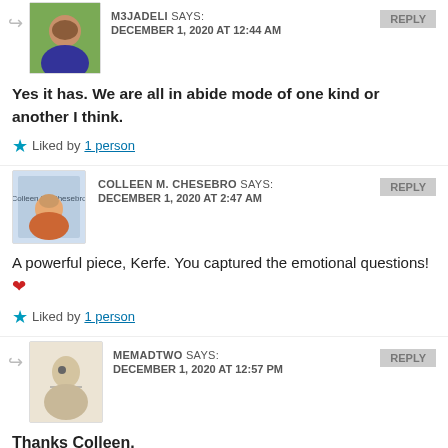M3JADELI SAYS: DECEMBER 1, 2020 AT 12:44 AM
Yes it has. We are all in abide mode of one kind or another I think.
Liked by 1 person
COLLEEN M. CHESEBRO SAYS: DECEMBER 1, 2020 AT 2:47 AM
A powerful piece, Kerfe. You captured the emotional questions! ❤
Liked by 1 person
MEMADTWO SAYS: DECEMBER 1, 2020 AT 12:57 PM
Thanks Colleen.
Liked by 1 person
COLLEEN M. CHESEBRO SAYS: DECEMBER 1, 2020 AT 1:42 PM